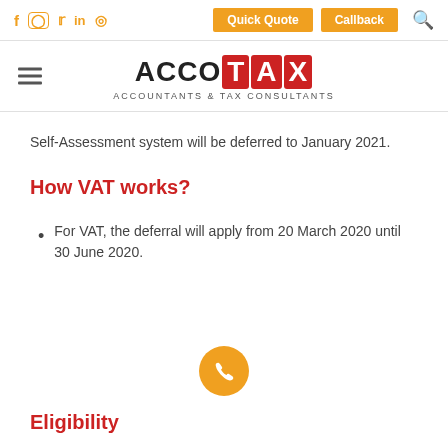ACCOTAX — ACCOUNTANTS & TAX CONSULTANTS — Quick Quote | Callback
Self-Assessment system will be deferred to January 2021.
How VAT works?
For VAT, the deferral will apply from 20 March 2020 until 30 June 2020.
Eligibility